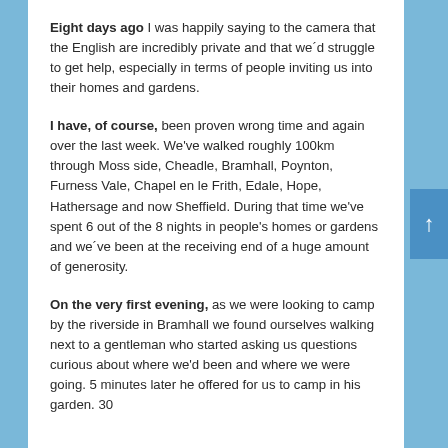Eight days ago I was happily saying to the camera that the English are incredibly private and that we'd struggle to get help, especially in terms of people inviting us into their homes and gardens.
I have, of course, been proven wrong time and again over the last week. We've walked roughly 100km through Moss side, Cheadle, Bramhall, Poynton, Furness Vale, Chapel en le Frith, Edale, Hope, Hathersage and now Sheffield. During that time we've spent 6 out of the 8 nights in people's homes or gardens and we've been at the receiving end of a huge amount of generosity.
On the very first evening, as we were looking to camp by the riverside in Bramhall we found ourselves walking next to a gentleman who started asking us questions curious about where we'd been and where we were going. 5 minutes later he offered for us to camp in his garden. 30